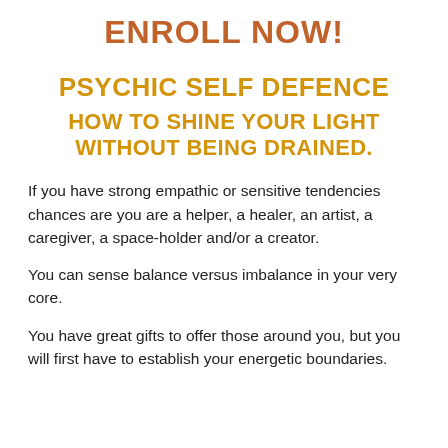ENROLL NOW!
PSYCHIC SELF DEFENCE
HOW TO SHINE YOUR LIGHT WITHOUT BEING DRAINED.
If you have strong empathic or sensitive tendencies chances are you are a helper, a healer, an artist, a caregiver, a space-holder and/or a creator.
You can sense balance versus imbalance in your very core.
You have great gifts to offer those around you, but you will first have to establish your energetic boundaries.